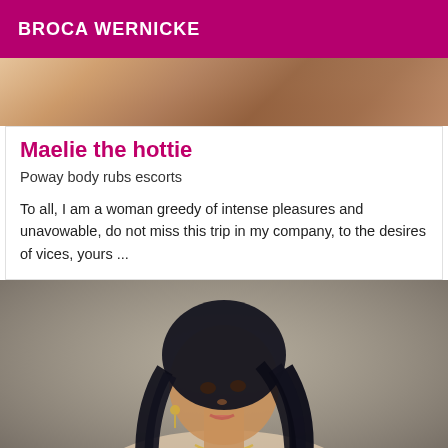BROCA WERNICKE
[Figure (photo): Partial photo of a person, cropped at top of page]
Maelie the hottie
Poway body rubs escorts
To all, I am a woman greedy of intense pleasures and unavowable, do not miss this trip in my company, to the desires of vices, yours ...
[Figure (photo): Photo of a woman with dark braided hair wearing jewelry, photographed from side/front angle against a neutral background]